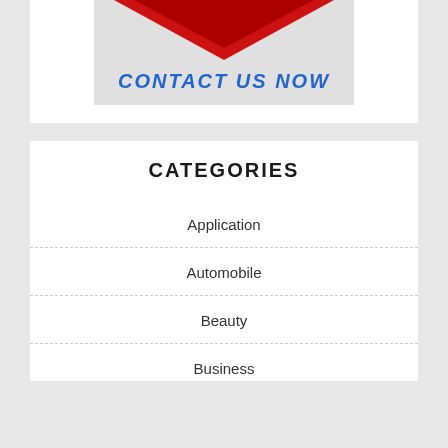[Figure (infographic): Red downward-pointing chevron/arrow shape on a light gray background, above a 'CONTACT US NOW' button text in bold blue italic uppercase letters]
CATEGORIES
Application
Automobile
Beauty
Business